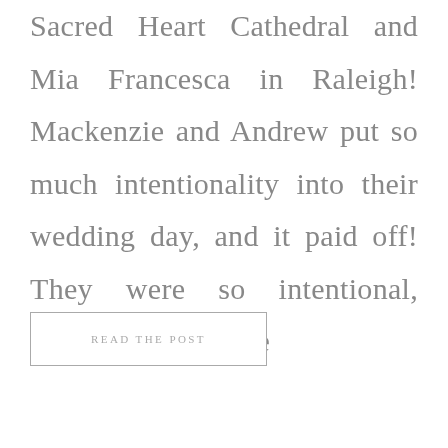Sacred Heart Cathedral and Mia Francesca in Raleigh! Mackenzie and Andrew put so much intentionality into their wedding day, and it paid off! They were so intentional, down to every little
READ THE POST